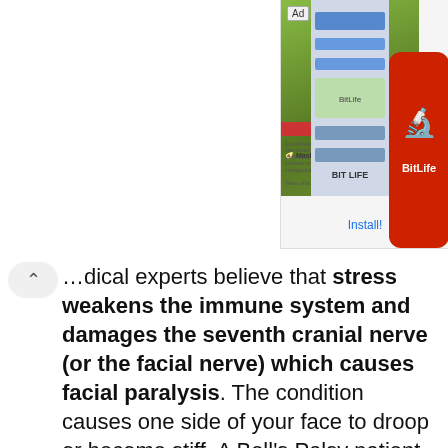[Figure (screenshot): Advertisement banner for BitLife app showing a Childhood/Mashed Avocado themed ad with green background, red Childhood bar, BitLife logo in red, and blue bar elements, with an Install! button in blue.]
Medical experts believe that stress weakens the immune system and damages the seventh cranial nerve (or the facial nerve) which causes facial paralysis. The condition causes one side of your face to droop or become stiff. A Bell's Palsy patient will face trouble in smiling or closing the eye on the affected side.